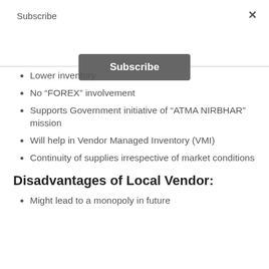Subscribe
[Figure (other): Subscribe button — dark gray rounded rectangle with white bold text 'Subscribe']
Lower inventory
No “FOREX” involvement
Supports Government initiative of “ATMA NIRBHAR” mission
Will help in Vendor Managed Inventory (VMI)
Continuity of supplies irrespective of market conditions
Disadvantages of Local Vendor:
Might lead to a monopoly in future